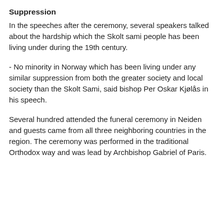Suppression
In the speeches after the ceremony, several speakers talked about the hardship which the Skolt sami people has been living under during the 19th century.
- No minority in Norway which has been living under any similar suppression from both the greater society and local society than the Skolt Sami, said bishop Per Oskar Kjølås in his speech.
Several hundred attended the funeral ceremony in Neiden and guests came from all three neighboring countries in the region. The ceremony was performed in the traditional Orthodox way and was lead by Archbishop Gabriel of Paris.